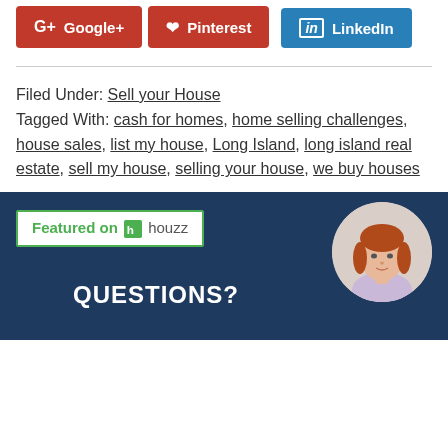[Figure (infographic): Social share buttons: Google+, Pinterest (red), LinkedIn (blue)]
Filed Under: Sell your House
Tagged With: cash for homes, home selling challenges, house sales, list my house, Long Island, long island real estate, sell my house, selling your house, we buy houses
[Figure (logo): Featured on houzz badge with green border]
[Figure (illustration): Circular avatar of a woman with red/auburn hair]
QUESTIONS?